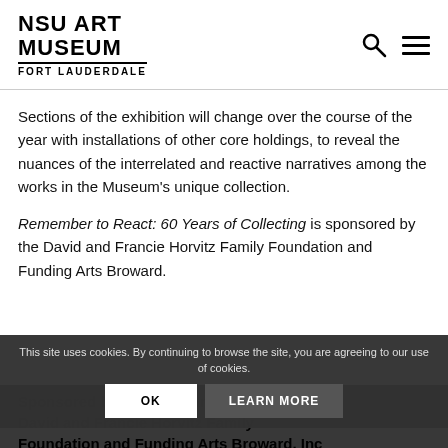NSU ART MUSEUM FORT LAUDERDALE
Sections of the exhibition will change over the course of the year with installations of other core holdings, to reveal the nuances of the interrelated and reactive narratives among the works in the Museum's unique collection.
Remember to React: 60 Years of Collecting is sponsored by the David and Francie Horvitz Family Foundation and Funding Arts Broward.
This site uses cookies. By continuing to browse the site, you are agreeing to our use of cookies.
Sponsored by Dr. David and Linda Frankel, David and Francie Horvitz Family Foundation and Funding Arts Broward, Inc